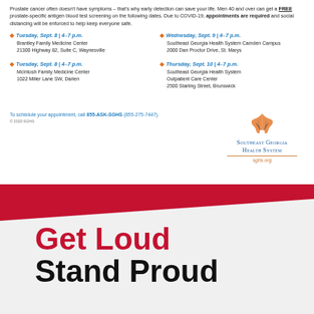Prostate cancer often doesn't have symptoms – that's why early detection can save your life. Men 40 and over can get a FREE prostate-specific antigen blood test screening on the following dates. Due to COVID-19, appointments are required and social distancing will be enforced to help keep everyone safe.
Tuesday, Sept. 8 | 4–7 p.m. — Brantley Family Medicine Center, 21300 Highway 82, Suite C, Waynesville
Wednesday, Sept. 9 | 4–7 p.m. — Southeast Georgia Health System Camden Campus, 2000 Dan Proctor Drive, St. Marys
Tuesday, Sept. 8 | 4–7 p.m. — McIntosh Family Medicine Center, 1022 Miller Lane SW, Darien
Thursday, Sept. 10 | 4–7 p.m. — Southeast Georgia Health System Outpatient Care Center, 2500 Starling Street, Brunswick
To schedule your appointment, call 855-ASK-SGHS (855-275-7447).
© 2020 SGHS
[Figure (logo): Southeast Georgia Health System shell logo with text 'SOUTHEAST GEORGIA HEALTH SYSTEM' and website sghs.org]
Get Loud
Stand Proud